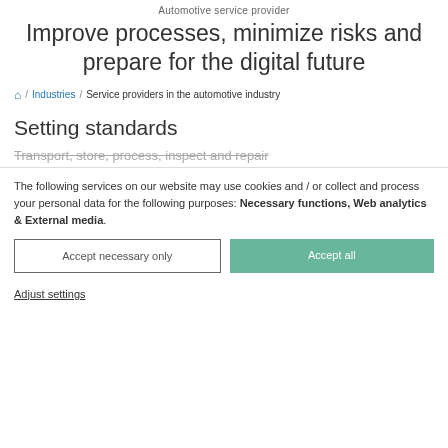Automotive service provider
Improve processes, minimize risks and prepare for the digital future
🏠 / Industries / Service providers in the automotive industry
Setting standards
Transport, store, process, inspect and repair
The following services on our website may use cookies and / or collect and process your personal data for the following purposes: Necessary functions, Web analytics & External media.
Accept necessary only
Accept all
Adjust settings